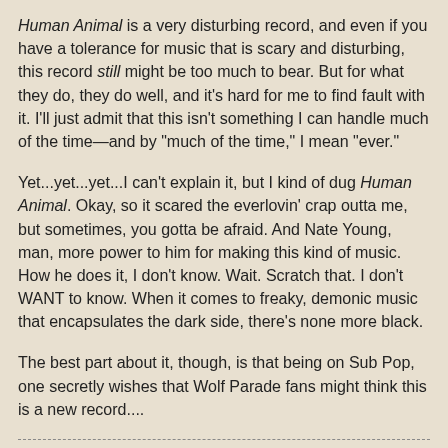Human Animal is a very disturbing record, and even if you have a tolerance for music that is scary and disturbing, this record still might be too much to bear. But for what they do, they do well, and it's hard for me to find fault with it. I'll just admit that this isn't something I can handle much of the time—and by "much of the time," I mean "ever."
Yet...yet...yet...I can't explain it, but I kind of dug Human Animal. Okay, so it scared the everlovin' crap outta me, but sometimes, you gotta be afraid. And Nate Young, man, more power to him for making this kind of music. How he does it, I don't know. Wait. Scratch that. I don't WANT to know. When it comes to freaky, demonic music that encapsulates the dark side, there's none more black.
The best part about it, though, is that being on Sub Pop, one secretly wishes that Wolf Parade fans might think this is a new record....
joseph kyle at 10:12 AM    No comments: